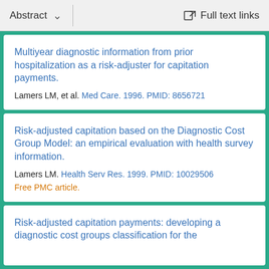Abstract  ∨    Full text links
Multiyear diagnostic information from prior hospitalization as a risk-adjuster for capitation payments.
Lamers LM, et al. Med Care. 1996. PMID: 8656721
Risk-adjusted capitation based on the Diagnostic Cost Group Model: an empirical evaluation with health survey information.
Lamers LM. Health Serv Res. 1999. PMID: 10029506
Free PMC article.
Risk-adjusted capitation payments: developing a diagnostic cost groups classification for the